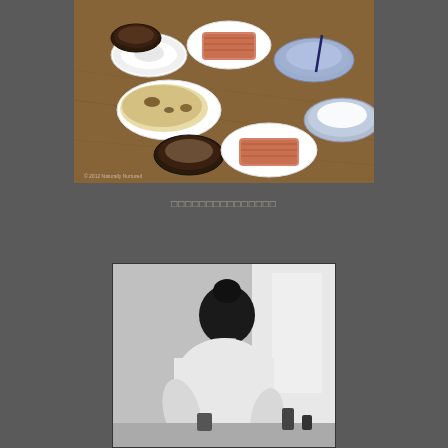[Figure (photo): Color photograph of a Japanese meal spread on a wooden table, showing bowls of miso soup, rice, natto, and pieces of tamagoyaki on white plates, with blue and white ceramic bowls]
□□□□□□□□□□□□□□□
[Figure (photo): Black and white photograph of a person with their hair in a bun, wearing a white shirt, leaning over a kitchen counter]